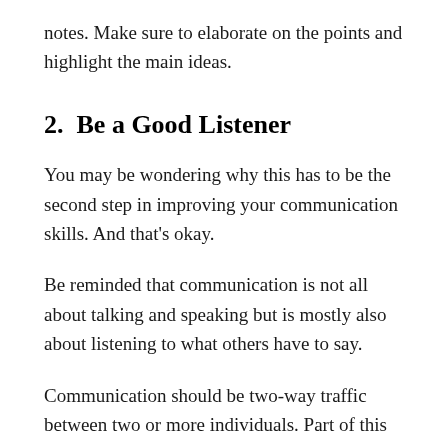notes. Make sure to elaborate on the points and highlight the main ideas.
2.  Be a Good Listener
You may be wondering why this has to be the second step in improving your communication skills. And that's okay.
Be reminded that communication is not all about talking and speaking but is mostly also about listening to what others have to say.
Communication should be two-way traffic between two or more individuals. Part of this is avoiding